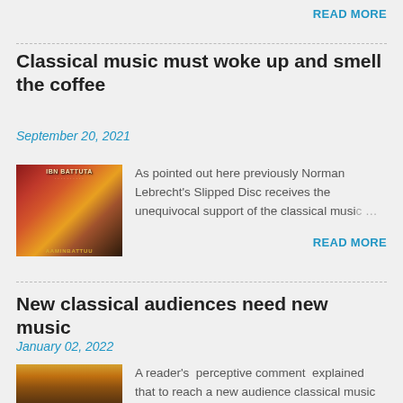READ MORE
Classical music must woke up and smell the coffee
September 20, 2021
[Figure (illustration): Book or album cover for 'Ibn Battuta' featuring medieval horsemen/warriors in colorful historical illustration]
As pointed out here previously Norman Lebrecht's Slipped Disc receives the unequivocal support of the classical music …
READ MORE
New classical audiences need new music
January 02, 2022
[Figure (photo): Landscape photo with warm golden-orange sky and clouds, possibly a desert or open landscape scene]
A reader's  perceptive comment  explained that to reach a new audience classical music must